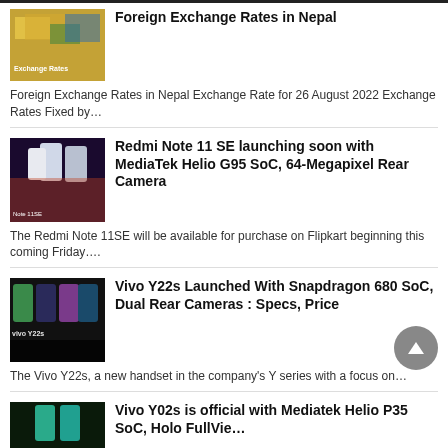[Figure (photo): Foreign currency notes image with text 'Exchange Rates']
Foreign Exchange Rates in Nepal
Foreign Exchange Rates in Nepal Exchange Rate for 26 August 2022 Exchange Rates Fixed by…
[Figure (photo): Redmi Note 11 SE smartphone promotional image]
Redmi Note 11 SE launching soon with MediaTek Helio G95 SoC, 64-Megapixel Rear Camera
The Redmi Note 11SE will be available for purchase on Flipkart beginning this coming Friday….
[Figure (photo): Vivo Y22s smartphones in multiple colors]
Vivo Y22s Launched With Snapdragon 680 SoC, Dual Rear Cameras : Specs, Price
The Vivo Y22s, a new handset in the company's Y series with a focus on…
[Figure (photo): Vivo Y02s smartphone image]
Vivo Y02s is official with Mediatek Helio P35 SoC, Holo FullVie…